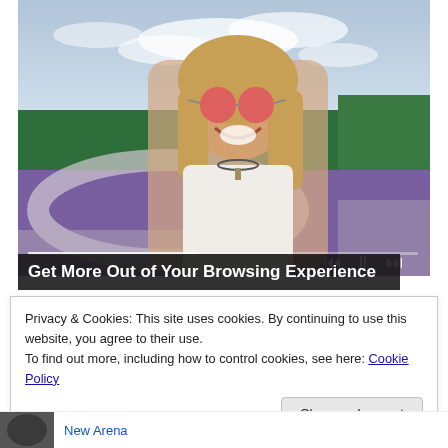[Figure (photo): A smiling woman with blonde hair and red round sunglasses wearing a white lace top, with a lavender field and trees in the background. Media player controls visible at bottom.]
Get More Out of Your Browsing Experience
Privacy & Cookies: This site uses cookies. By continuing to use this website, you agree to their use.
To find out more, including how to control cookies, see here: Cookie Policy
Close and accept
New Arena